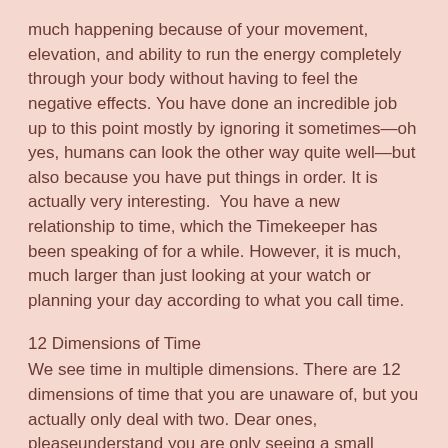much happening because of your movement, elevation, and ability to run the energy completely through your body without having to feel the negative effects. You have done an incredible job up to this point mostly by ignoring it sometimes—oh yes, humans can look the other way quite well—but also because you have put things in order. It is actually very interesting.  You have a new relationship to time, which the Timekeeper has been speaking of for a while. However, it is much, much larger than just looking at your watch or planning your day according to what you call time.
12 Dimensions of Time
We see time in multiple dimensions. There are 12 dimensions of time that you are unaware of, but you actually only deal with two. Dear ones, pleaseunderstand you are only seeing a small portion of reality. If you open up all the channels and let the 12 dimensions of time be experienced simultaneously, you would literally be totally confused. We originally opened the door with one dimension of time, and it took you millions of years to get accustomed to that one. Now we have just released a second and you are wrestling with it. Why? Because you still hang onto the old one, which